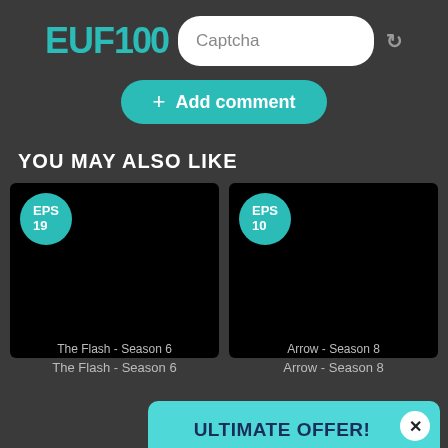[Figure (logo): EUF100 logo in teal/cyan color]
Captcha
+ Add comment
YOU MAY ALSO LIKE
[Figure (screenshot): Black card with teal EPS 19 badge - The Flash Season 6]
[Figure (screenshot): Black card with teal EPS 10 badge - Arrow Season 8]
[Figure (infographic): ULTIMATE OFFER! popup - Protect yourself while surfing online and get CouchTuner Premium Membership, for the same time period, for FREE! with cybersecurity illustration]
The Flash - Season 6
Arrow - Season 8